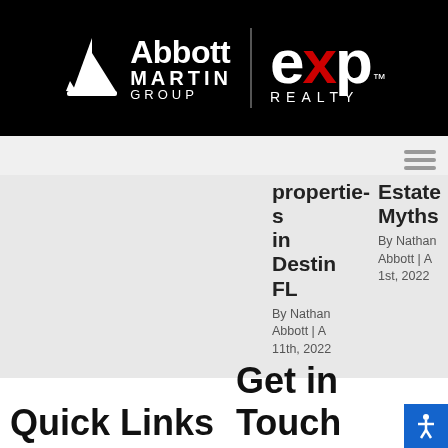[Figure (logo): Abbott Martin Group | eXp Realty logo on black background. Left side shows a sailboat icon with 'Abbott MARTIN GROUP' text, right side shows 'eXp REALTY' in large white letters, separated by a vertical divider line.]
[Figure (other): Hamburger menu icon (three horizontal lines) in gray]
properties in Destin FL
By Nathan Abbott | A 11th, 2022
Estate Myths
By Nathan Abbott | A 1st, 2022
Quick Links
Get in Touch